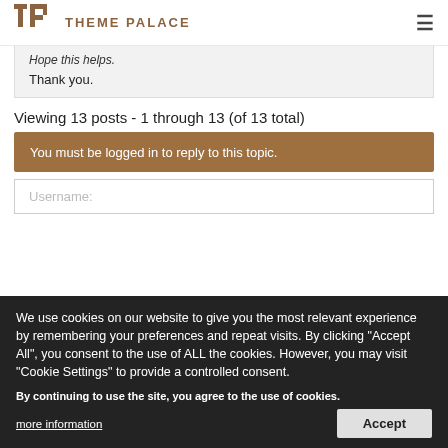THEME PALACE
Hope this helps.
Thank you.
Viewing 13 posts - 1 through 13 (of 13 total)
You must be logged in to reply to this topic.
Username:
We use cookies on our website to give you the most relevant experience by remembering your preferences and repeat visits. By clicking "Accept All", you consent to the use of ALL the cookies. However, you may visit "Cookie Settings" to provide a controlled consent.
By continuing to use the site, you agree to the use of cookies.
more information
Accept